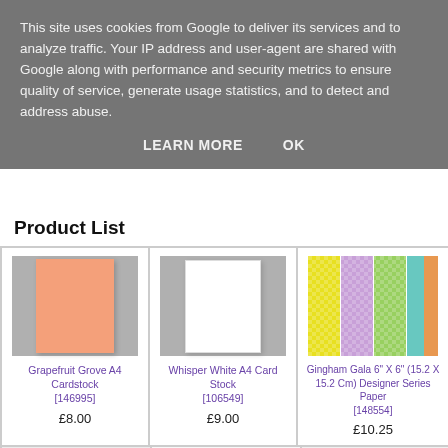This site uses cookies from Google to deliver its services and to analyze traffic. Your IP address and user-agent are shared with Google along with performance and security metrics to ensure quality of service, generate usage statistics, and to detect and address abuse.
LEARN MORE    OK
Product List
| Grapefruit Grove A4 Cardstock [146995]
£8.00 | Whisper White A4 Card Stock [106549]
£9.00 | Gingham Gala 6" X 6" (15.2 X 15.2 Cm) Designer Series Paper [148554]
£10.25 |
| (image) | (image) | (image) |